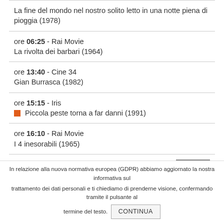La fine del mondo nel nostro solito letto in una notte piena di pioggia (1978)
ore 06:25 - Rai Movie
La rivolta dei barbari (1964)
ore 13:40 - Cine 34
Gian Burrasca (1982)
ore 15:15 - Iris
Piccola peste torna a far danni (1991)
ore 16:10 - Rai Movie
I 4 inesorabili (1965)
ore 16:30 - Rete 4
Il ritorno di Ringo (1965)
ore 21:10 - Rai Movie
Buon compleanno mr. Grape (1993)
In relazione alla nuova normativa europea (GDPR) abbiamo aggiornato la nostra informativa sul trattamento dei dati personali e ti chiediamo di prenderne visione, confermando tramite il pulsante al termine del testo. CONTINUA